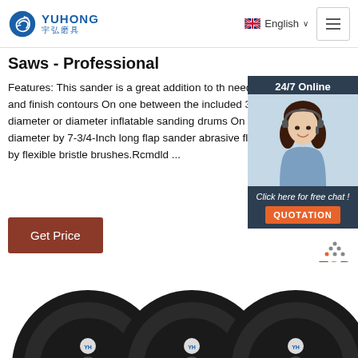YUHONG 宇弘磨具 | English | Navigation
Saws - Professional
Features: This sander is a great addition to the needing to shape and finish contours On one between the included 3-1/4-Inch diameter or diameter inflatable sanding drums On the oth Inch diameter by 7-3/4-Inch long flap sander abrasive flaps backed up by flexible bristle brushes.Rcmdld ...
[Figure (other): 24/7 Online chat widget with agent photo and QUOTATION button]
Get Price
[Figure (photo): Three black grinding/cutting discs with YUHONG branding arranged in a row at the bottom of the page]